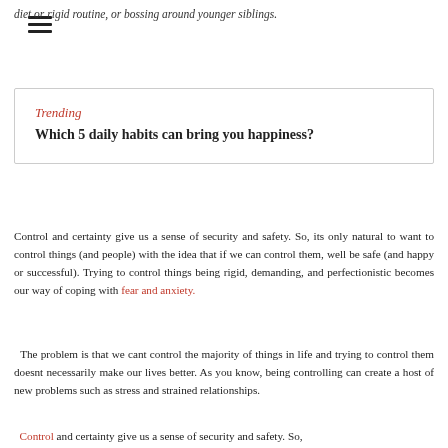≡
diet or rigid routine, or bossing around younger siblings.
Trending
Which 5 daily habits can bring you happiness?
Control and certainty give us a sense of security and safety. So, its only natural to want to control things (and people) with the idea that if we can control them, well be safe (and happy or successful). Trying to control things being rigid, demanding, and perfectionistic becomes our way of coping with fear and anxiety.
The problem is that we cant control the majority of things in life and trying to control them doesnt necessarily make our lives better. As you know, being controlling can create a host of new problems such as stress and strained relationships.
Control and certainty give us a sense of security and safety. So,